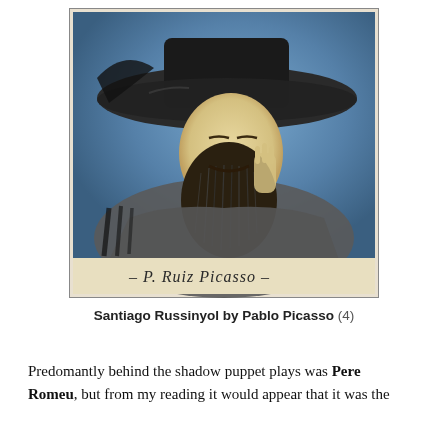[Figure (illustration): A colorful illustration/portrait drawing of Santiago Russinyol — a bearded man wearing a large dark hat, with a blue background. The figure is shown from the shoulders up, with a long dark beard and a hand near his face. The artwork has a signature at the bottom reading 'P. Ruiz Picasso'. This is an early work by Pablo Picasso.]
Santiago Russinyol by Pablo Picasso (4)
Predomantly behind the shadow puppet plays was Pere Romeu, but from my reading it would appear that it was the